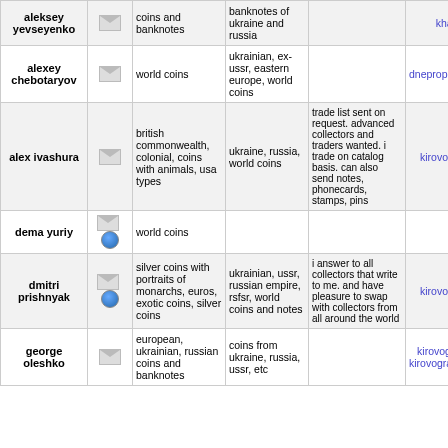| name |  | have | want | notes | city | # |
| --- | --- | --- | --- | --- | --- | --- |
| aleksey yevseyenko | [env] | coins and banknotes | banknotes of ukraine and russia |  | kharkiv | 22 |
| alexey chebotaryov | [env] | world coins | ukrainian, ex-ussr, eastern europe, world coins |  | dnepropetrovsk | 14 |
| alex ivashura | [env] | british commonwealth, colonial, coins with animals, usa types | ukraine, russia, world coins | trade list sent on request. advanced collectors and traders wanted. i trade on catalog basis. can also send notes, phonecards, stamps, pins | kirovograd | 14 |
| dema yuriy | [env][globe] | world coins |  |  | kyiv | 19 |
| dmitri prishnyak | [env][globe] | silver coins with portraits of monarchs, euros, exotic coins, silver coins | ukrainian, ussr, russian empire, rsfsr, world coins and notes | i answer to all collectors that write to me. and have pleasure to swap with collectors from all around the world | kirovograd | 14 |
| george oleshko | [env] | european, ukrainian, russian coins and banknotes | coins from ukraine, russia, ussr, etc |  | kirovograd, kirovogradskaya | 09 |